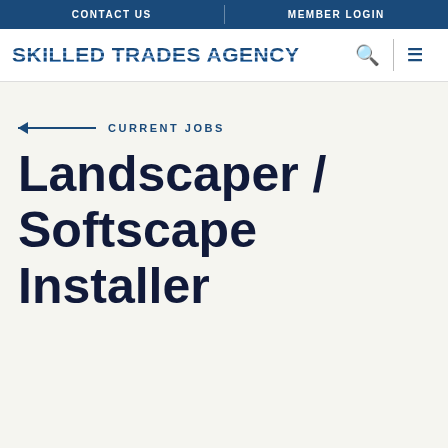CONTACT US | MEMBER LOGIN
[Figure (logo): Skilled Trades Agency logo with search and menu icons]
CURRENT JOBS
Landscaper / Softscape Installer